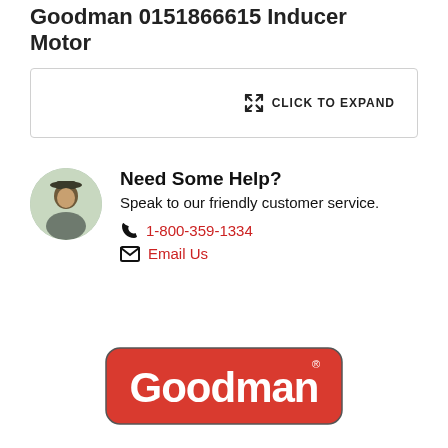Goodman 0151866615 Inducer Motor
[Figure (other): Click to Expand button/box with expand icon]
Need Some Help? Speak to our friendly customer service. 1-800-359-1334 Email Us
[Figure (logo): Goodman brand logo — red rounded rectangle with white Goodman text and registered trademark symbol]